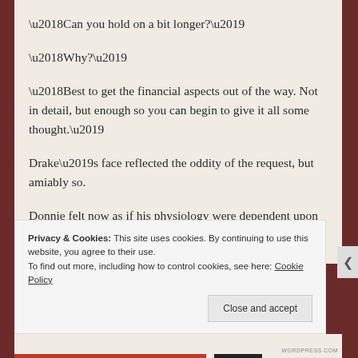‘Can you hold on a bit longer?’
‘Why?’
‘Best to get the financial aspects out of the way. Not in detail, but enough so you can begin to give it all some thought.’
Drake’s face reflected the oddity of the request, but amiably so.
Donnie felt now as if his physiology were dependent upon Drake’s.
Privacy & Cookies: This site uses cookies. By continuing to use this website, you agree to their use.
To find out more, including how to control cookies, see here: Cookie Policy
Close and accept